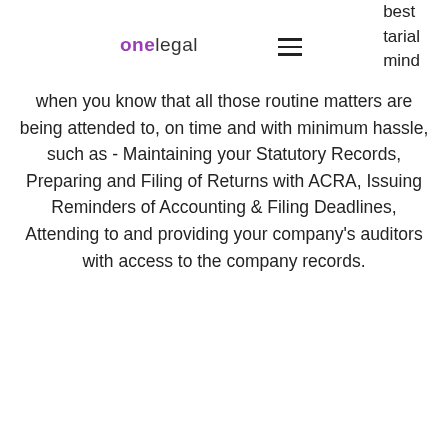onelegal
best tarial mind when you know that all those routine matters are being attended to, on time and with minimum hassle, such as - Maintaining your Statutory Records, Preparing and Filing of Returns with ACRA, Issuing Reminders of Accounting & Filing Deadlines, Attending to and providing your company's auditors with access to the company records.
Get in Touch